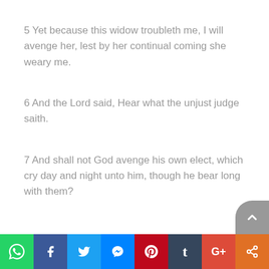5 Yet because this widow troubleth me, I will avenge her, lest by her continual coming she weary me.
6 And the Lord said, Hear what the unjust judge saith.
7 And shall not God avenge his own elect, which cry day and night unto him, though he bear long with them?